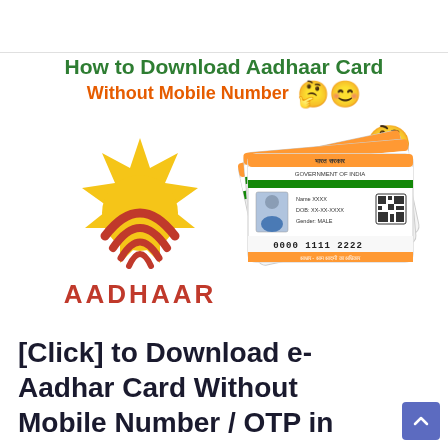How to Download Aadhaar Card Without Mobile Number 🤔😊
[Figure (illustration): Aadhaar logo (sun with red arcs and text AADHAAR) on the left, and sample Aadhaar cards (with name XXXX, DOB: XX-XX-XXXX, Gender: MALE, number 0000 1111 2222) on the right, with a thinking emoji in top-right corner.]
[Click] to Download e-Aadhar Card Without Mobile Number / OTP in 2022